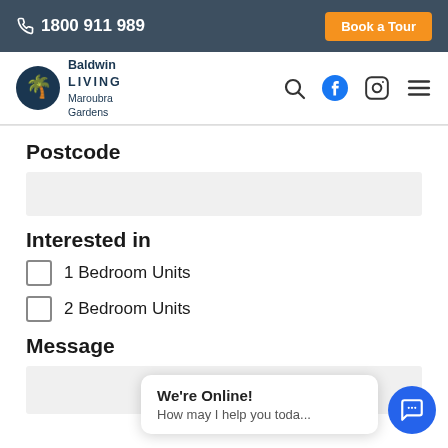1800 911 989  Book a Tour
[Figure (logo): Baldwin Living Maroubra Gardens logo with palm tree icon]
Postcode
Interested in
1 Bedroom Units
2 Bedroom Units
Message
We're Online!
How may I help you toda...